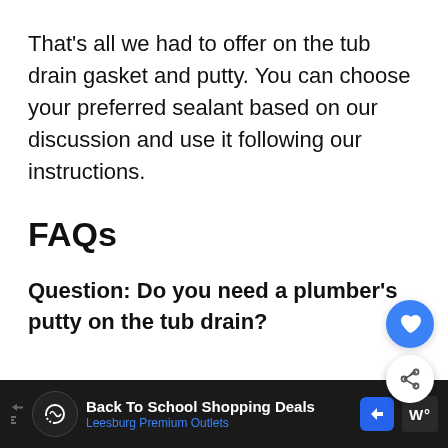That's all we had to offer on the tub drain gasket and putty. You can choose your preferred sealant based on our discussion and use it following our instructions.
FAQs
Question: Do you need a plumber's putty on the tub drain?
[Figure (photo): Partially visible image showing what appears to be a plumbing component (white/gray) and a teal/blue rectangular area, with a 'What's Next' widget showing an icon and 'Extension Cord for the...' text]
[Figure (other): Advertisement bar: Back To School Shopping Deals - Leesburg Premium Outlets]